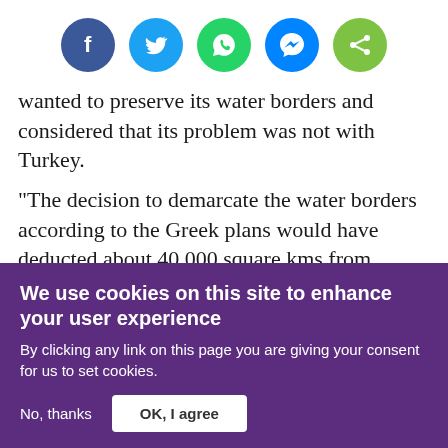[Figure (infographic): Row of 5 social media sharing icons: Facebook (dark blue), Twitter (light blue), WhatsApp (green), Messenger (blue), Share (green)]
wanted to preserve its water borders and considered that its problem was not with Turkey.
"The decision to demarcate the water borders according to the Greek plans would have deducted about 40,000 square kms from Egypt's rights in the Mediterranean, and there were groups in the Egyptian Ministry of Foreign Affairs who saw that sharing dialogue with both Turkey
We use cookies on this site to enhance your user experience
By clicking any link on this page you are giving your consent for us to set cookies.
No, thanks
OK, I agree